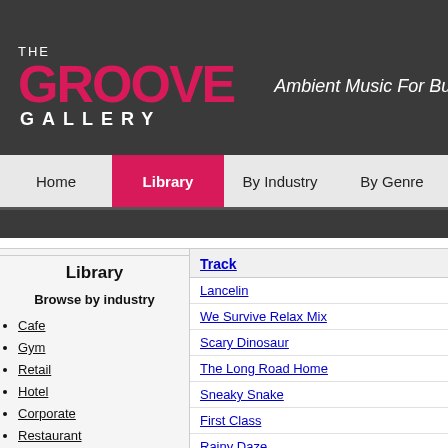[Figure (logo): The Groove Gallery logo with 'THE' in white, 'GROOVE' in red/crimson bold large text, 'GALLERY' in white spaced letters, a vertical divider, and tagline 'Ambient Music For Business' in white italic on dark gray background]
Home | Library | By Industry | By Genre
Library
Browse by industry
Cafe
Gym
Retail
Hotel
Corporate
Restaurant
Browse by genre
Acoustic
Track
Lancelin
We Survive Relax Mix
Scary Dinosaur
The Long Road Home
Sneaky Snake
First Class
Rainy Daze
Haze Beats